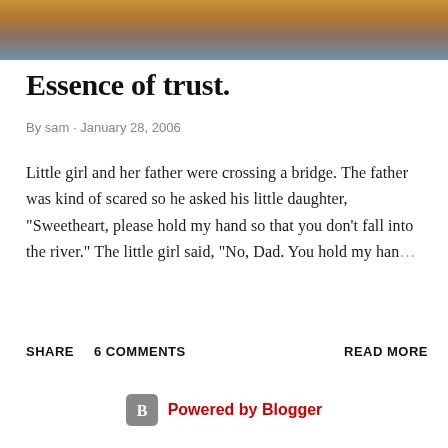[Figure (photo): Partial photo showing books or jeans on a warm brown background, cropped at the top of the page]
Essence of trust.
By sam · January 28, 2006
Little girl and her father were crossing a bridge. The father was kind of scared so he asked his little daughter, "Sweetheart, please hold my hand so that you don't fall into the river." The little girl said, "No, Dad. You hold my han…
SHARE   6 COMMENTS   READ MORE
Powered by Blogger